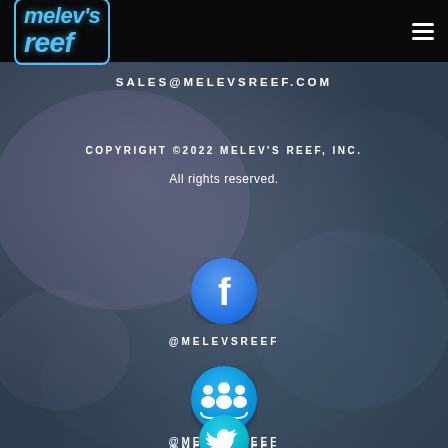melev's reef
SALES@MELEVSREEF.COM
COPYRIGHT ©2022 MELEV'S REEF, INC.
All rights reserved.
[Figure (logo): Facebook circular blue icon]
@MELEVSREEF
[Figure (logo): Group/community circular blue icon]
@MELEVSREEF
[Figure (logo): Twitter bird icon partial (cyan/teal), cropped at bottom]